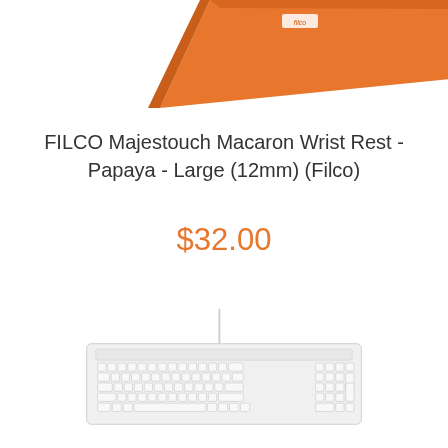[Figure (photo): Partial view of an orange/red FILCO Majestouch Macaron wrist rest product at the top of the page, shown at an angle]
FILCO Majestouch Macaron Wrist Rest - Papaya - Large (12mm) (Filco)
$32.00
[Figure (photo): White full-size keyboard (Filco) shown from a slightly elevated angle with a cable running upward, light gray/white keys on white body]